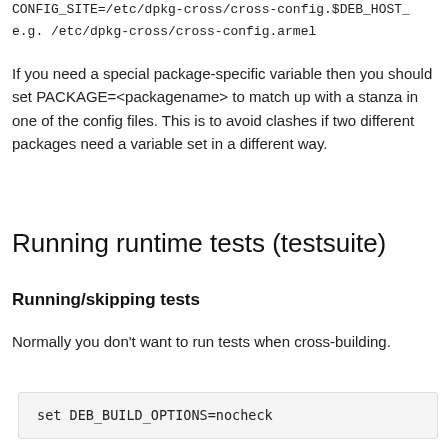CONFIG_SITE=/etc/dpkg-cross/cross-config.$DEB_HOST_
e.g. /etc/dpkg-cross/cross-config.armel
If you need a special package-specific variable then you should set PACKAGE=<packagename> to match up with a stanza in one of the config files. This is to avoid clashes if two different packages need a variable set in a different way.
Running runtime tests (testsuite)
Running/skipping tests
Normally you don't want to run tests when cross-building.
set DEB_BUILD_OPTIONS=nocheck